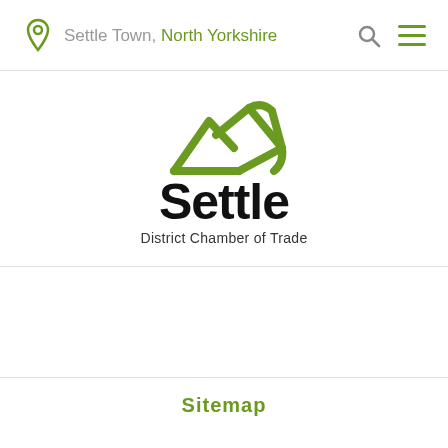Settle Town, North Yorkshire
[Figure (logo): Settle District Chamber of Trade logo — green mountain outline above the word 'Settle' in bold black, with 'District Chamber of Trade' in smaller text below]
Sitemap